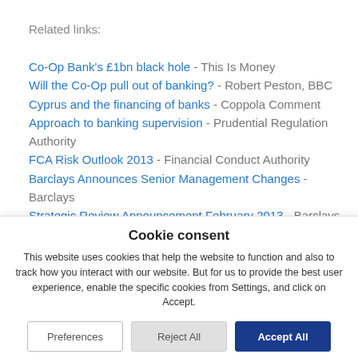Related links:
Co-Op Bank's £1bn black hole - This Is Money
Will the Co-Op pull out of banking? - Robert Peston, BBC
Cyprus and the financing of banks - Coppola Comment
Approach to banking supervision - Prudential Regulation Authority
FCA Risk Outlook 2013 - Financial Conduct Authority
Barclays Announces Senior Management Changes - Barclays
Strategic Review Announcement February 2013 - Barclays
Cookie consent
This website uses cookies that help the website to function and also to track how you interact with our website. But for us to provide the best user experience, enable the specific cookies from Settings, and click on Accept.
Preferences | Reject All | Accept All